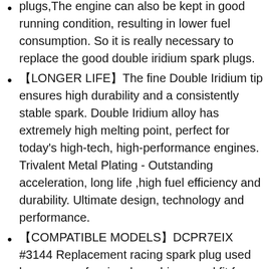plugs,The engine can also be kept in good running condition, resulting in lower fuel consumption. So it is really necessary to replace the good double iridium spark plugs.
【LONGER LIFE】The fine Double Iridium tip ensures high durability and a consistently stable spark. Double Iridium alloy has extremely high melting point, perfect for today's high-tech, high-performance engines. Trivalent Metal Plating - Outstanding acceleration, long life ,high fuel efficiency and durability. Ultimate design, technology and performance.
【COMPATIBLE MODELS】DCPR7EIX #3144 Replacement racing spark plug used by many professional car drivers and fit for 2000 Dyna Super Glide；1999-2016 Harley Davidson Twin Cam；XL Sportster 883/1200 1986-present; Ultra；Suzuki Boulevard ;If it has the same parameters as this product, it can be compatible.